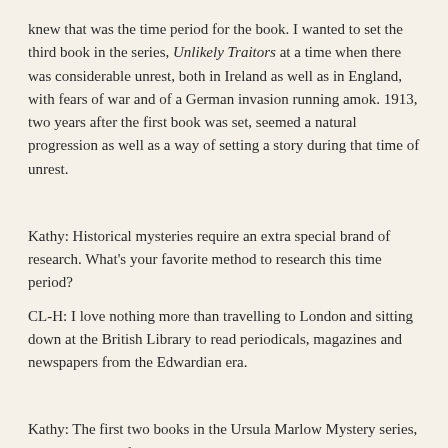knew that was the time period for the book. I wanted to set the third book in the series, Unlikely Traitors at a time when there was considerable unrest, both in Ireland as well as in England, with fears of war and of a German invasion running amok. 1913, two years after the first book was set, seemed a natural progression as well as a way of setting a story during that time of unrest.
Kathy: Historical mysteries require an extra special brand of research. What's your favorite method to research this time period?
CL-H: I love nothing more than travelling to London and sitting down at the British Library to read periodicals, magazines and newspapers from the Edwardian era.
Kathy: The first two books in the Ursula Marlow Mystery series, Consequences of Sin and The Serpent and the Scorpion, were published in 2007 and 2008 respectively. Unlikely Traitors, the third in the series, was just published July 8th of this year, 2014. Why such a long wait for this book?